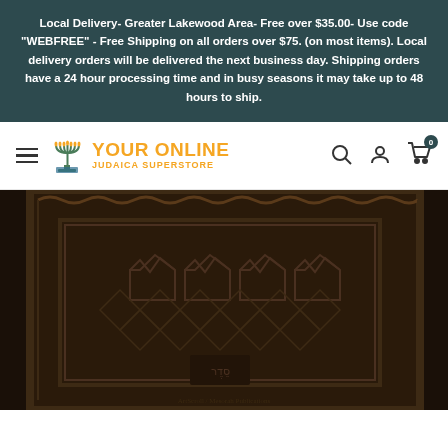Local Delivery- Greater Lakewood Area- Free over $35.00- Use code "WEBFREE" - Free Shipping on all orders over $75. (on most items). Local delivery orders will be delivered the next business day. Shipping orders have a 24 hour processing time and in busy seasons it may take up to 48 hours to ship.
[Figure (logo): Your Online Judaica Superstore logo with menorah icon and navigation bar including hamburger menu, search, account, and cart icons]
[Figure (photo): Close-up of a dark brown embossed leather book cover (likely a Jewish religious book/siddur) with ornate decorative patterns including geometric diamond lattice, crown motifs, and floral border designs]